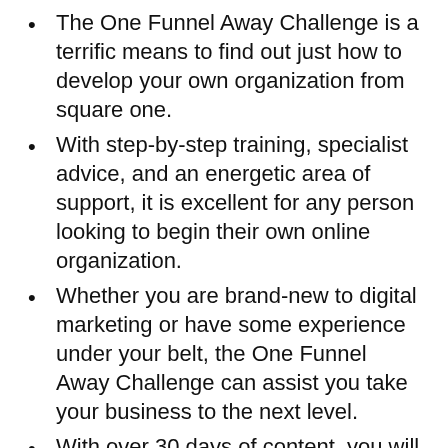The One Funnel Away Challenge is a terrific means to find out just how to develop your own organization from square one.
With step-by-step training, specialist advice, and an energetic area of support, it is excellent for any person looking to begin their own online organization.
Whether you are brand-new to digital marketing or have some experience under your belt, the One Funnel Away Challenge can assist you take your business to the next level.
With over 30 days of content, you will have everything you need to get going and see results quickly.